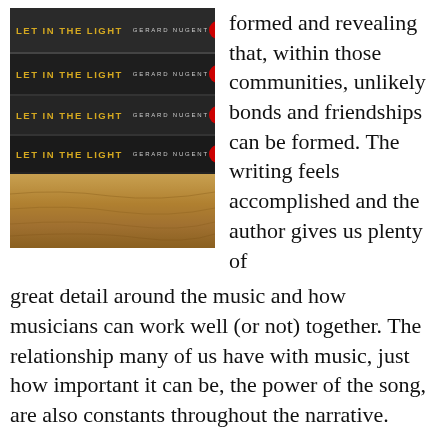[Figure (photo): Stack of four copies of the book 'Let in the Light' by Gerard Nugent, showing the spines stacked on top of each other on a wooden surface. The spines are dark with yellow/gold title text and small red circular publisher logos.]
formed and revealing that, within those communities, unlikely bonds and friendships can be formed. The writing feels accomplished and the author gives us plenty of great detail around the music and how musicians can work well (or not) together. The relationship many of us have with music, just how important it can be, the power of the song, are also constants throughout the narrative.